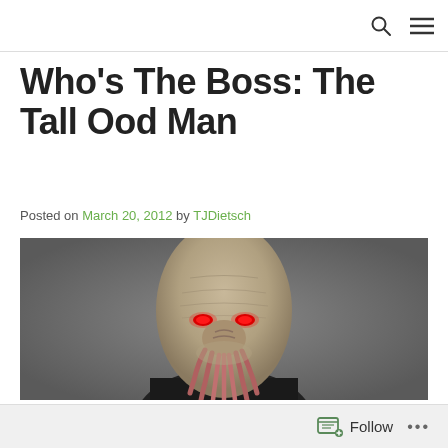Who’s The Boss: The Tall Ood Man
Posted on March 20, 2012 by TJDietsch
[Figure (photo): Close-up photo of an Ood alien creature from Doctor Who, with a pale wrinkled dome-shaped head, glowing red eyes, and tentacles around the mouth area, wearing a dark suit, against a grey background.]
Follow ...